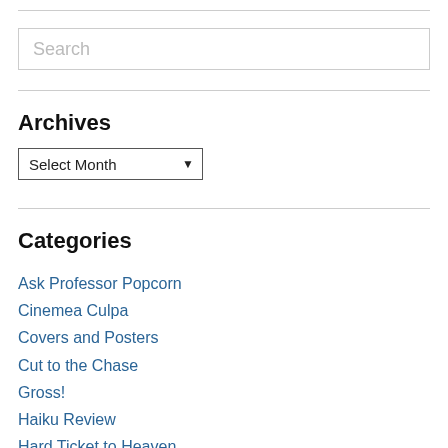[Figure (screenshot): Search input box with placeholder text 'Search']
Archives
[Figure (screenshot): Dropdown select box labeled 'Select Month' with arrow]
Categories
Ask Professor Popcorn
Cinemea Culpa
Covers and Posters
Cut to the Chase
Gross!
Haiku Review
Hard Ticket to Heaven
Hard Ticket to Ho-Ho-Home Video